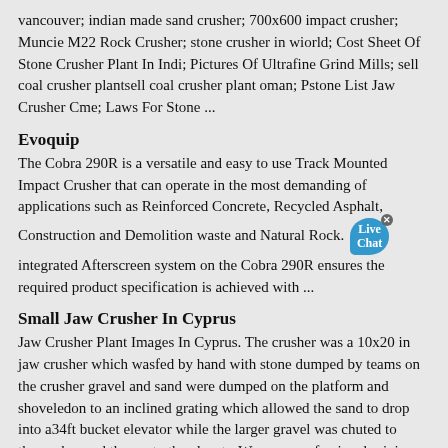vancouver; indian made sand crusher; 700x600 impact crusher; Muncie M22 Rock Crusher; stone crusher in wiorld; Cost Sheet Of Stone Crusher Plant In Indi; Pictures Of Ultrafine Grind Mills; sell coal crusher plantsell coal crusher plant oman; Pstone List Jaw Crusher Cme; Laws For Stone ...
Evoquip
The Cobra 290R is a versatile and easy to use Track Mounted Impact Crusher that can operate in the most demanding of applications such as Reinforced Concrete, Recycled Asphalt, Construction and Demolition waste and Natural Rock. The integrated Afterscreen system on the Cobra 290R ensures the required product specification is achieved with ...
Small Jaw Crusher In Cyprus
Jaw Crusher Plant Images In Cyprus. The crusher was a 10x20 in jaw crusher which wasfed by hand with stone dumped by teams on the crusher gravel and sand were dumped on the platform and shoveledon to an inclined grating which allowed the sand to drop into a34ft bucket elevator while the larger gravel was chuted to thecrusher and thence to the elevatorWe are a professional mining machinery ...
Single Cylinder Cone Crusher | Shanghai Dingbo Heavy ...
2021-8-28 · Single cylinder cone crusher is widely used in